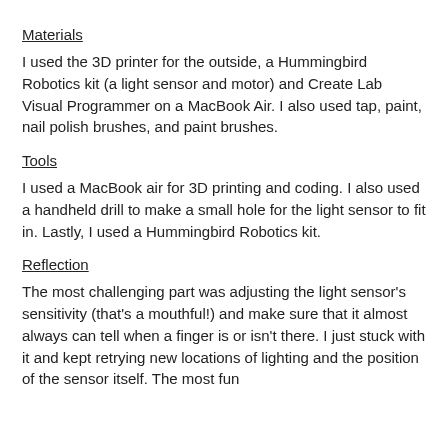Materials
I used the 3D printer for the outside, a Hummingbird Robotics kit (a light sensor and motor) and Create Lab Visual Programmer on a MacBook Air. I also used tap, paint, nail polish brushes, and paint brushes.
Tools
I used a MacBook air for 3D printing and coding. I also used a handheld drill to make a small hole for the light sensor to fit in. Lastly, I used a Hummingbird Robotics kit.
Reflection
The most challenging part was adjusting the light sensor's sensitivity (that's a mouthful!) and make sure that it almost always can tell when a finger is or isn't there. I just stuck with it and kept retrying new locations of lighting and the position of the sensor itself. The most fun